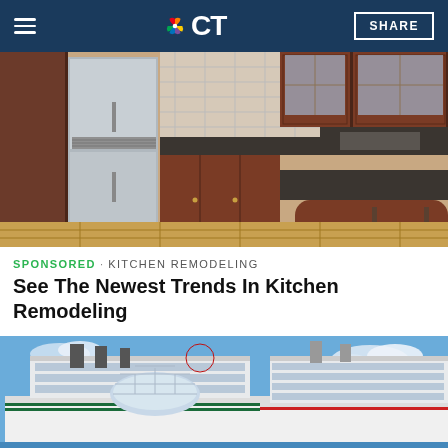NBC CT — SHARE
[Figure (photo): Interior photo of a modern kitchen with dark wood cabinetry, stainless steel refrigerator, granite countertops, and hardwood floors with bar stools.]
SPONSORED · KITCHEN REMODELING
See The Newest Trends In Kitchen Remodeling
[Figure (photo): Photo of two large cruise ships docked side by side against a blue sky with clouds.]